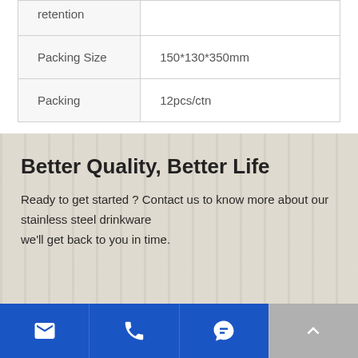|  |  |
| --- | --- |
| retention |  |
| Packing Size | 150*130*350mm |
| Packing | 12pcs/ctn |
Better Quality, Better Life
Ready to get started ? Contact us to know more about our stainless steel drinkware we'll get back to you in time.
*Full Name
[Figure (other): Footer navigation bar with email, phone, chat, and scroll-to-top icons on blue and gray backgrounds]